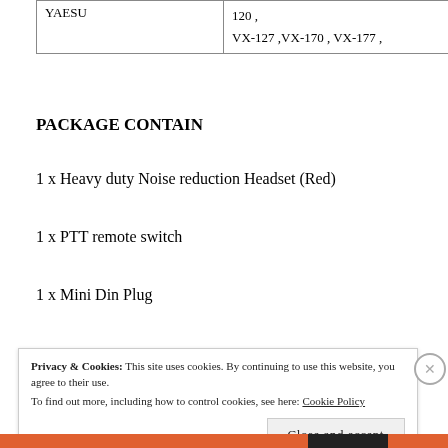|  |  |
| --- | --- |
| YAESU | 120 ,
VX-127 ,VX-170 , VX-177 , |
PACKAGE CONTAIN
1 x Heavy duty Noise reduction Headset (Red)
1 x PTT remote switch
1 x Mini Din Plug
Privacy & Cookies: This site uses cookies. By continuing to use this website, you agree to their use.
To find out more, including how to control cookies, see here: Cookie Policy
Close and accept